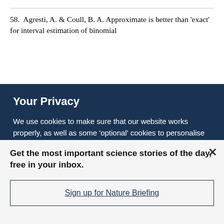58. Agresti, A. & Coull, B. A. Approximate is better than 'exact' for interval estimation of binomial
Your Privacy
We use cookies to make sure that our website works properly, as well as some 'optional' cookies to personalise content and advertising, provide social media features and analyse how people use our site. By accepting some or all optional cookies you give consent to the processing of your personal data, including transfer to third parties, some in countries outside of the European Economic Area that do not offer the same data protection standards as the country where you live. You can decide which optional cookies to accept by clicking on 'Manage Settings', where you can
Get the most important science stories of the day, free in your inbox.
Sign up for Nature Briefing